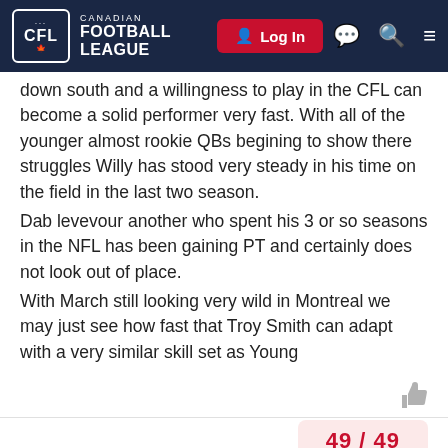CFL Canadian Football League | Log In
down south and a willingness to play in the CFL can become a solid performer very fast. With all of the younger almost rookie QBs begining to show there struggles Willy has stood very steady in his time on the field in the last two season.
Dab levevour another who spent his 3 or so seasons in the NFL has been gaining PT and certainly does not look out of place.
With March still looking very wild in Montreal we may just see how fast that Troy Smith can adapt with a very similar skill set as Young
49 / 49